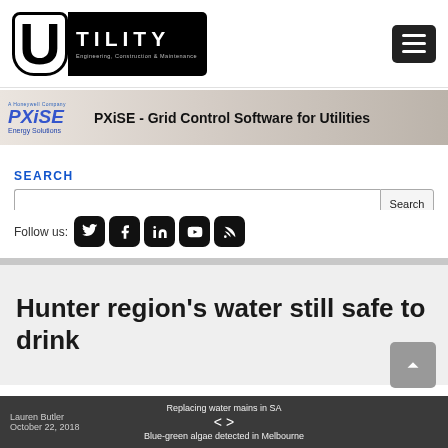[Figure (logo): Utility magazine logo — large U letterform with 'TILITY' text block, subtitle 'Engineering, Construction & Maintenance']
[Figure (screenshot): Hamburger menu button (three horizontal lines on dark background)]
[Figure (infographic): PXiSE Energy Solutions banner ad — 'PXiSE - Grid Control Software for Utilities' with wind turbines background]
SEARCH
[Figure (screenshot): Search input field with Search button]
Follow us:
[Figure (infographic): Social media icons: Twitter, Facebook, LinkedIn, YouTube, RSS feed — black rounded square buttons]
Hunter region's water still safe to drink
Lauren Butler  |  Replacing water mains in SA  < >  Blue-green algae detected in Melbourne  |  October 22, 2018